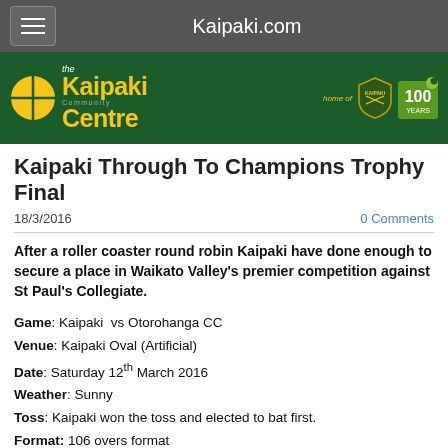Kaipaki.com
[Figure (logo): The Kaipaki Community Centre banner with yellow logo circle, green background, and 100 Years badge on the right]
Kaipaki Through To Champions Trophy Final
18/3/2016   0 Comments
After a roller coaster round robin Kaipaki have done enough to secure a place in Waikato Valley's premier competition against St Paul's Collegiate.
Game: Kaipaki  vs Otorohanga CC
Venue: Kaipaki Oval (Artificial)
Date: Saturday 12th March 2016
Weather: Sunny
Toss: Kaipaki won the toss and elected to bat first.
Format: 106 overs format